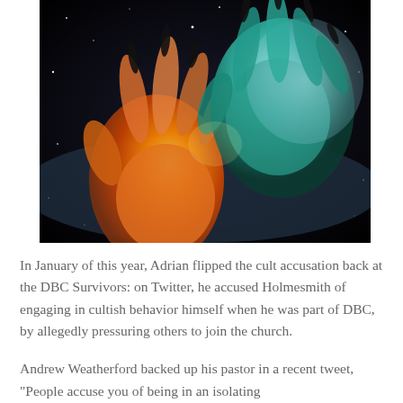[Figure (illustration): Artistic illustration of two cosmic hands reaching toward each other against a dark starry space background. One hand appears warmer with fiery orange/red tones and the other has cooler teal/blue tones. The fingers have dark elongated nails.]
In January of this year, Adrian flipped the cult accusation back at the DBC Survivors: on Twitter, he accused Holmesmith of engaging in cultish behavior himself when he was part of DBC, by allegedly pressuring others to join the church.
Andrew Weatherford backed up his pastor in a recent tweet, "People accuse you of being in an isolating